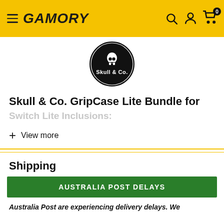GAMORY — navigation header with menu, logo, search, account, and cart icons
[Figure (logo): Skull & Co. brand logo — circular black badge with skull icon and text 'Skull & Co.']
Skull & Co. GripCase Lite Bundle for
Switch Lite Inclusions:
+ View more
Shipping
AUSTRALIA POST DELAYS
Australia Post are experiencing delivery delays. We